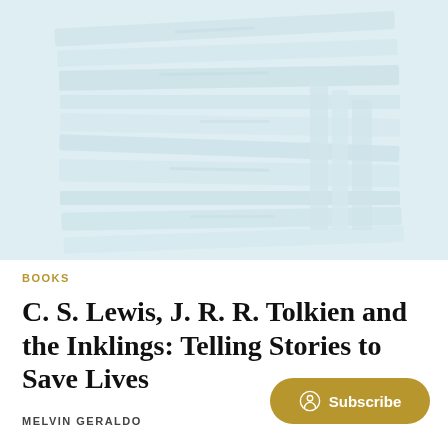[Figure (photo): A faded, pale blue-tinted photograph of stacked books seen from the spine side, very washed out and light in color.]
BOOKS
C. S. Lewis, J. R. R. Tolkien and the Inklings: Telling Stories to Save Lives
MELVIN GERALDO